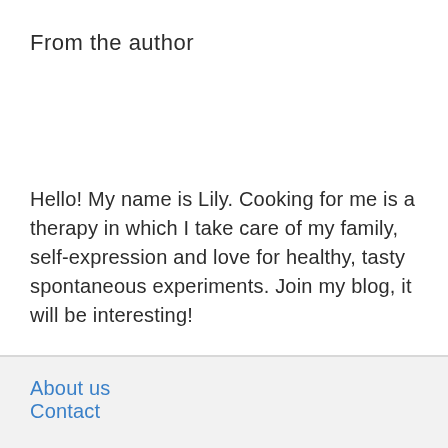From the author
Hello! My name is Lily. Cooking for me is a therapy in which I take care of my family, self-expression and love for healthy, tasty spontaneous experiments. Join my blog, it will be interesting!
About us
Contact